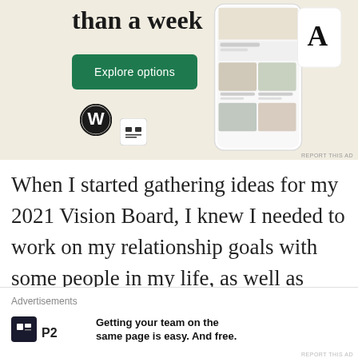[Figure (screenshot): WordPress website builder advertisement banner with beige background showing 'than a week' text, green 'Explore options' button, WordPress logo, and phone mockup showing food/recipe website interface]
When I started gathering ideas for my 2021 Vision Board, I knew I needed to work on my relationship goals with some people in my life, as well as myself. Setting a goal for greater compassion and
[Figure (screenshot): P2 advertisement at bottom: 'Advertisements' label, P2 logo icon, text 'Getting your team on the same page is easy. And free.']